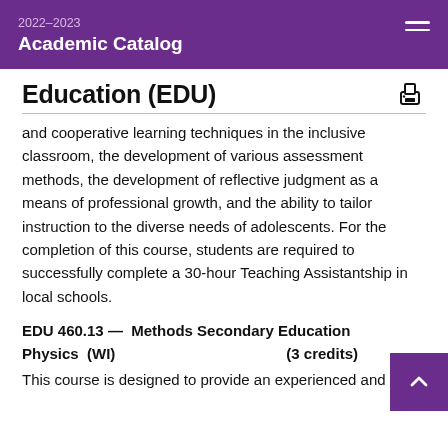2022–2023 Academic Catalog
Education (EDU)
and cooperative learning techniques in the inclusive classroom, the development of various assessment methods, the development of reflective judgment as a means of professional growth, and the ability to tailor instruction to the diverse needs of adolescents. For the completion of this course, students are required to successfully complete a 30-hour Teaching Assistantship in local schools.
EDU 460.13 —  Methods Secondary Education Physics  (WI)  (3 credits)